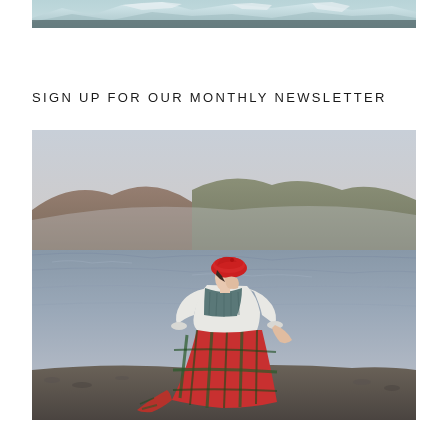[Figure (photo): Partial view of a snowy/icy mountain landscape, cropped at the top of the page]
SIGN UP FOR OUR MONTHLY NEWSLETTER
[Figure (photo): A woman wearing a red beret, white blouse, teal knit vest, and red plaid tartan skirt, standing by a loch with hills in the background]